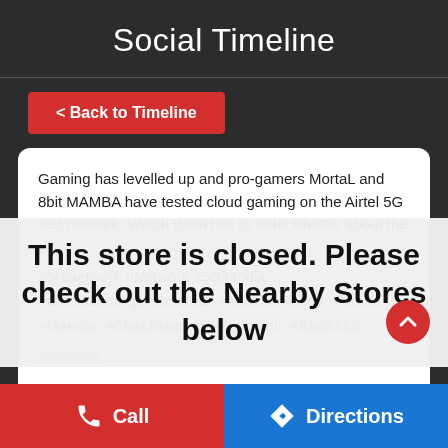Social Timeline
< Back to Timeline
Gaming has levelled up and pro-gamers MortaL and 8bit MAMBA have tested cloud gaming on the Airtel 5G test network. Watch them talk to Sahil Khattar about the future of gaming, the super-fast Airtel 5G network...
This store is closed. Please check out the Nearby Stores below
#5GNetwork #Network #5GinIndia #CloudGamingonAirtel5G, #Airtel5GReady, #Mortal, #Mamba, #CloudGaming, #Gameloft, #BlackNut
#Airtel5G
Call
Directions